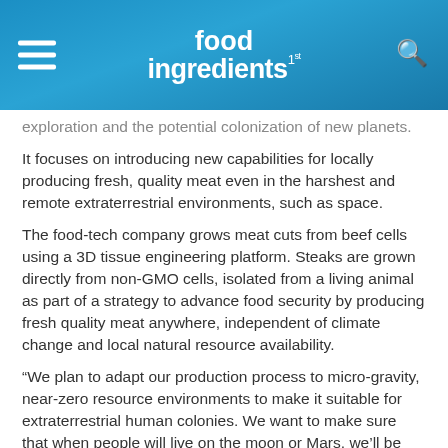food ingredients 1st
exploration and the potential colonization of new planets.
It focuses on introducing new capabilities for locally producing fresh, quality meat even in the harshest and remote extraterrestrial environments, such as space.
The food-tech company grows meat cuts from beef cells using a 3D tissue engineering platform. Steaks are grown directly from non-GMO cells, isolated from a living animal as part of a strategy to advance food security by producing fresh quality meat anywhere, independent of climate change and local natural resource availability.
“We plan to adapt our production process to micro-gravity, near-zero resource environments to make it suitable for extraterrestrial human colonies. We want to make sure that when people will live on the moon or Mars, we’ll be there too – to provide quality nutrition and delicious meat to literally anyone,” Didier Toubia, Aleph’s co-founder and CEO, tells FoodIngredientsFirst.